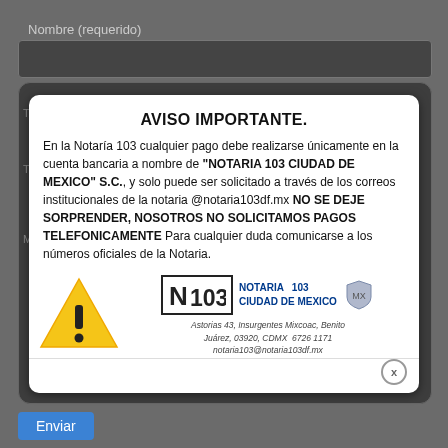Nombre (requerido)
AVISO IMPORTANTE.
En la Notaría 103 cualquier pago debe realizarse únicamente en la cuenta bancaria a nombre de "NOTARIA 103 CIUDAD DE MEXICO" S.C., y solo puede ser solicitado a través de los correos institucionales de la notaria @notaria103df.mx NO SE DEJE SORPRENDER, NOSOTROS NO SOLICITAMOS PAGOS TELEFONICAMENTE Para cualquier duda comunicarse a los números oficiales de la Notaria.
[Figure (illustration): Warning triangle icon with exclamation mark (yellow/orange)]
[Figure (logo): N103 Notaria 103 Ciudad de Mexico logo with shield emblem]
Astorias 43, Insurgentes Mixcoac, Benito Juárez, 03920, CDMX  6726 1171
notaria103@notaria103df.mx